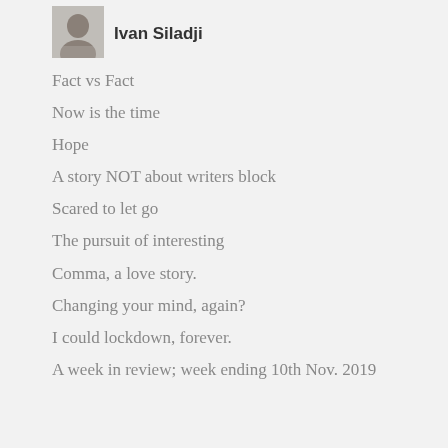[Figure (photo): Small black and white profile photo of Ivan Siladji]
Ivan Siladji
Fact vs Fact
Now is the time
Hope
A story NOT about writers block
Scared to let go
The pursuit of interesting
Comma, a love story.
Changing your mind, again?
I could lockdown, forever.
A week in review; week ending 10th Nov. 2019